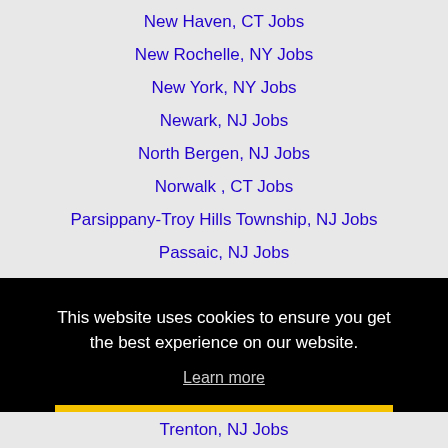New Haven, CT Jobs
New Rochelle, NY Jobs
New York, NY Jobs
Newark, NJ Jobs
North Bergen, NJ Jobs
Norwalk , CT Jobs
Parsippany-Troy Hills Township, NJ Jobs
Passaic, NJ Jobs
Paterson, NJ Jobs
This website uses cookies to ensure you get the best experience on our website.
Learn more
Got it!
Trenton, NJ Jobs